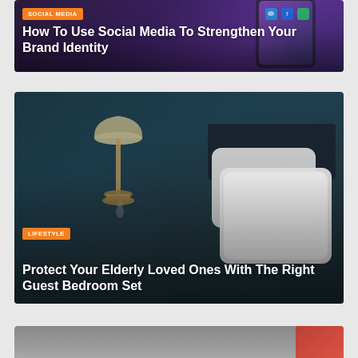[Figure (photo): Social media article card with purple/dark background showing a smartphone with social media app icons, category badge 'SOCIAL MEDIA' in orange, and title text overlaid on the image.]
How To Use Social Media To Strengthen Your Brand Identity
[Figure (photo): Lifestyle article card with dark teal bedroom background showing a bedside lamp and white pillows, category badge 'LIFESTYLE' in orange, and title text overlaid.]
Protect Your Elderly Loved Ones With The Right Guest Bedroom Set
[Figure (photo): Partially visible third article card at bottom of page with gray and red tones.]